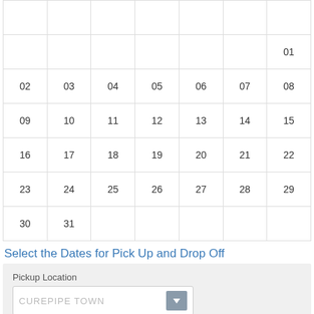|  |  |  |  |  |  | 01 |
| 02 | 03 | 04 | 05 | 06 | 07 | 08 |
| 09 | 10 | 11 | 12 | 13 | 14 | 15 |
| 16 | 17 | 18 | 19 | 20 | 21 | 22 |
| 23 | 24 | 25 | 26 | 27 | 28 | 29 |
| 30 | 31 |  |  |  |  |  |
Select the Dates for Pick Up and Drop Off
Pickup Location
CUREPIPE TOWN
Pickup Date
18/08/2022
Pickup Time
09 : 00
Drop Off Date
Drop Off Time
09 : 00